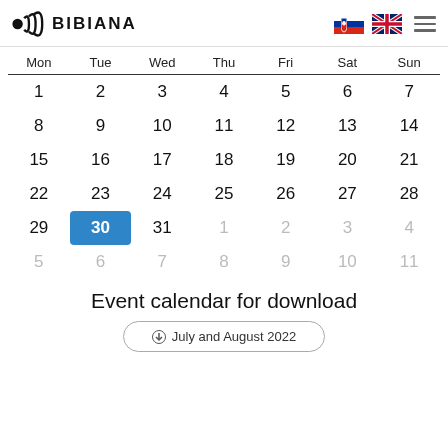BIBIANA
| Mon | Tue | Wed | Thu | Fri | Sat | Sun |
| --- | --- | --- | --- | --- | --- | --- |
| 1 | 2 | 3 | 4 | 5 | 6 | 7 |
| 8 | 9 | 10 | 11 | 12 | 13 | 14 |
| 15 | 16 | 17 | 18 | 19 | 20 | 21 |
| 22 | 23 | 24 | 25 | 26 | 27 | 28 |
| 29 | 30 | 31 | 1 | 2 | 3 | 4 |
| 5 | 6 | 7 | 8 | 9 | 10 | 11 |
Event calendar for download
July and August 2022